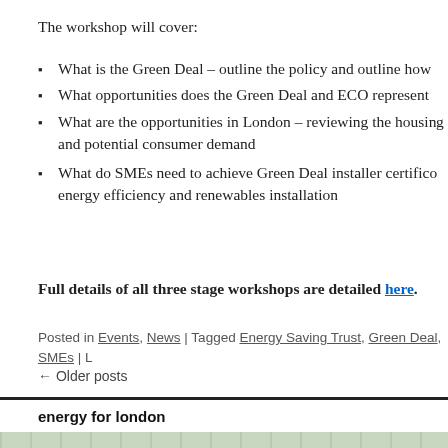The workshop will cover:
What is the Green Deal – outline the policy and outline how
What opportunities does the Green Deal and ECO represent
What are the opportunities in London – reviewing the housing and potential consumer demand
What do SMEs need to achieve Green Deal installer certific… energy efficiency and renewables installation
Full details of all three stage workshops are detailed here.
Posted in Events, News | Tagged Energy Saving Trust, Green Deal, SMEs | L
← Older posts
energy for london